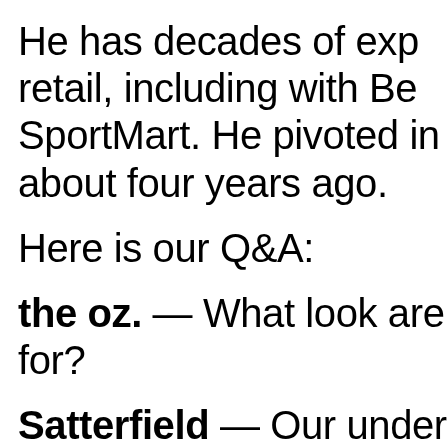He has decades of experience in retail, including with Best Buy and SportMart. He pivoted into [this] about four years ago.
Here is our Q&A:
the oz. — What look are [you] for?
Satterfield — Our under[standing…]